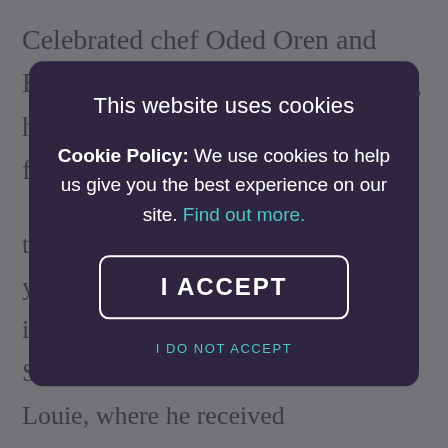Celebrated chef Oded Oren and Borough Wines & Beers are paying homage to the diverse foods and flavours of the Eastern Mediterranean region to...
[Figure (screenshot): Cookie consent modal overlay on a webpage. Dark purple modal with title 'This website uses cookies', body text 'Cookie Policy: We use cookies to help us give you the best experience on our site. Find out more.', an 'I ACCEPT' button with white border, and a teal 'I DO NOT ACCEPT' link below.]
to London in 2011. In the past few years he has hosted several pop-ups, including a six-month residency at South East London restaurant Louie Louie, where he received